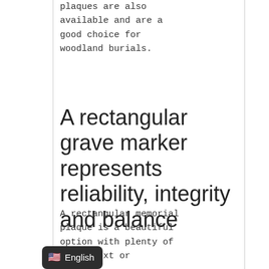plaques are also available and are a good choice for woodland burials.
A rectangular grave marker represents reliability, integrity and balance
A rectangular memorial plaque is a beautiful option with plenty of e for text or